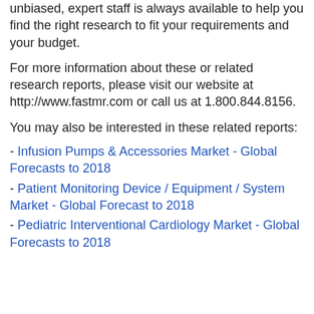unbiased, expert staff is always available to help you find the right research to fit your requirements and your budget.
For more information about these or related research reports, please visit our website at http://www.fastmr.com or call us at 1.800.844.8156.
You may also be interested in these related reports:
- Infusion Pumps & Accessories Market - Global Forecasts to 2018
- Patient Monitoring Device / Equipment / System Market - Global Forecast to 2018
- Pediatric Interventional Cardiology Market - Global Forecasts to 2018